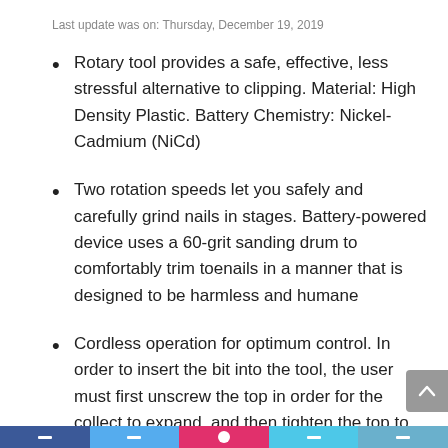Last update was on: Thursday, December 19, 2019
Rotary tool provides a safe, effective, less stressful alternative to clipping. Material: High Density Plastic. Battery Chemistry: Nickel-Cadmium (NiCd)
Two rotation speeds let you safely and carefully grind nails in stages. Battery-powered device uses a 60-grit sanding drum to comfortably trim toenails in a manner that is designed to be harmless and humane
Cordless operation for optimum control. In order to insert the bit into the tool, the user must first unscrew the top in order for the collect to expand, and then tighten the top to secure the bit